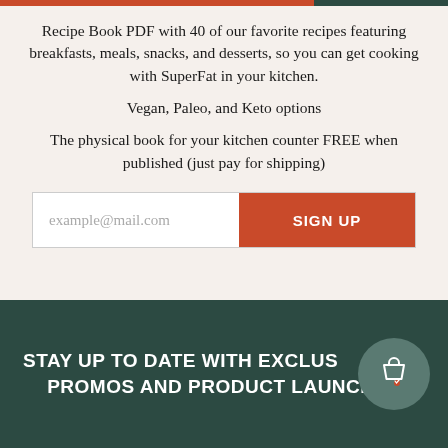Recipe Book PDF with 40 of our favorite recipes featuring breakfasts, meals, snacks, and desserts, so you can get cooking with SuperFat in your kitchen.
Vegan, Paleo, and Keto options
The physical book for your kitchen counter FREE when published (just pay for shipping)
example@mail.com
SIGN UP
STAY UP TO DATE WITH EXCLUS PROMOS AND PRODUCT LAUNCHES